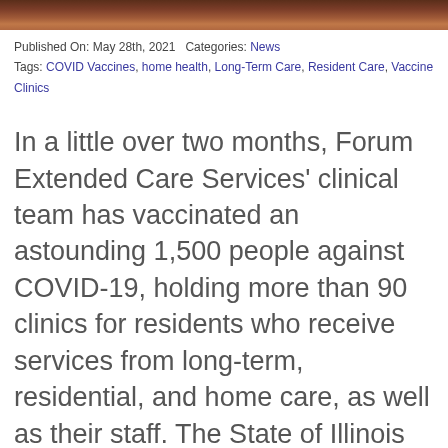[Figure (photo): Partial photo strip at top of page showing a blurred scene with warm brown tones]
Published On: May 28th, 2021   Categories: News
Tags: COVID Vaccines, home health, Long-Term Care, Resident Care, Vaccine Clinics
In a little over two months, Forum Extended Care Services' clinical team has vaccinated an astounding 1,500 people against COVID-19, holding more than 90 clinics for residents who receive services from long-term, residential, and home care, as well as their staff. The State of Illinois